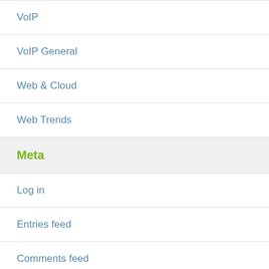VoIP
VoIP General
Web & Cloud
Web Trends
Meta
Log in
Entries feed
Comments feed
WordPress.org